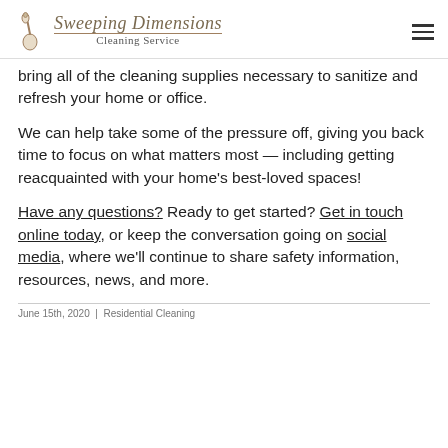Sweeping Dimensions Cleaning Service
bring all of the cleaning supplies necessary to sanitize and refresh your home or office.
We can help take some of the pressure off, giving you back time to focus on what matters most — including getting reacquainted with your home's best-loved spaces!
Have any questions? Ready to get started? Get in touch online today, or keep the conversation going on social media, where we'll continue to share safety information, resources, news, and more.
June 15th, 2020  |  Residential Cleaning